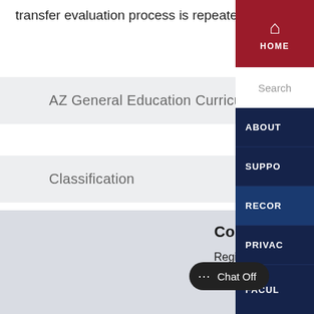transfer evaluation process is repeated.
AZ General Education Curriculum
Classification
Related Links
Contact Information
Registration, Residency & T...
Administration Building,
P.O. Box 210066
HOME
Search
ABOUT
SUPPO
RECOR
PRIVAC
FACUL
Chat Off